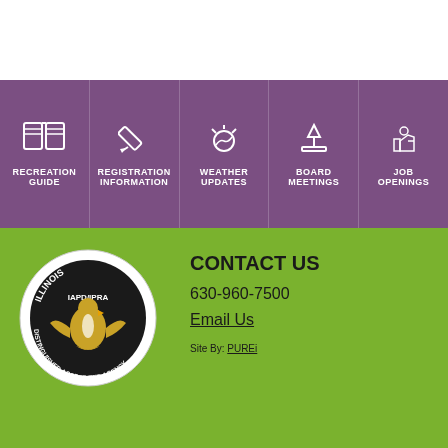[Figure (infographic): Navigation bar with 5 purple icon buttons: Recreation Guide (book icon), Registration Information (pencil icon), Weather Updates (sun/cloud icon), Board Meetings (gavel icon), Job Openings (thumbs up icon)]
[Figure (logo): Illinois IAPD/IPRA Distinguished Accredited Agency circular seal with golden eagle]
CONTACT US
630-960-7500
Email Us
Site By: PUREi
ADMINISTRATIVE OFFICE
2455 Warrenville Road
DOWNERS GROVE MUSEUM